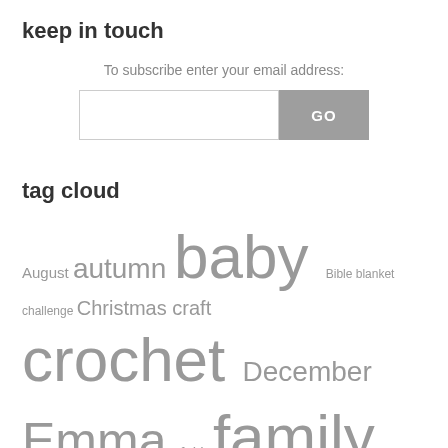keep in touch
To subscribe enter your email address:
[Figure (other): Email subscription input box with a GO button]
tag cloud
August autumn baby Bible blanket challenge Christmas craft crochet December Emma faith family February flowers free patterns garden happy things home homemaker mondays January July June kitchen March Matthew May nature new outside...